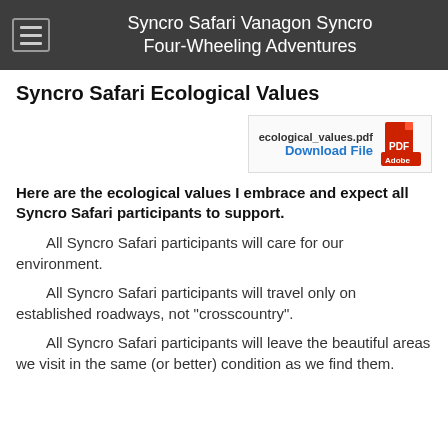Syncro Safari Vanagon Syncro Four-Wheeling Adventures
Syncro Safari Ecological Values
[Figure (other): PDF download link with Adobe PDF icon for ecological_values.pdf]
Here are the ecological values I embrace and expect all Syncro Safari participants to support.
All Syncro Safari participants will care for our environment.
All Syncro Safari participants will travel only on established roadways, not "crosscountry".
All Syncro Safari participants will leave the beautiful areas we visit in the same (or better) condition as we find them.